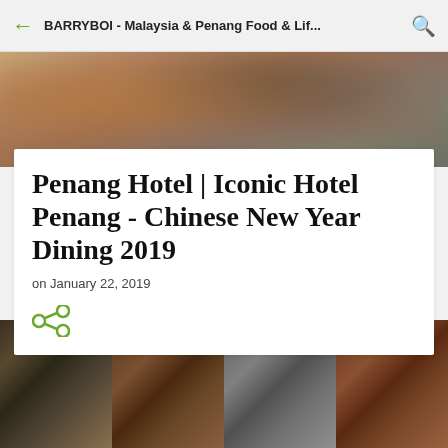BARRYBOI - Malaysia & Penang Food & Lif...
[Figure (photo): Blurred hero banner photo of food]
Penang Hotel | Iconic Hotel Penang - Chinese New Year Dining 2019
on January 22, 2019
[Figure (infographic): Share icon (social sharing button)]
[Figure (photo): Strip of four food photos showing Chinese New Year dining dishes]